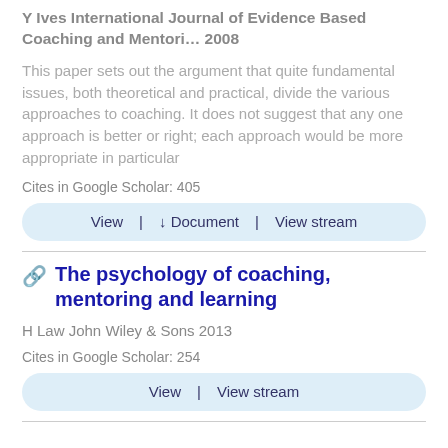Y Ives International Journal of Evidence Based Coaching and Mentori… 2008
This paper sets out the argument that quite fundamental issues, both theoretical and practical, divide the various approaches to coaching. It does not suggest that any one approach is better or right; each approach would be more appropriate in particular
Cites in Google Scholar: 405
View | ↓ Document | View stream
The psychology of coaching, mentoring and learning
H Law John Wiley & Sons 2013
Cites in Google Scholar: 254
View | View stream